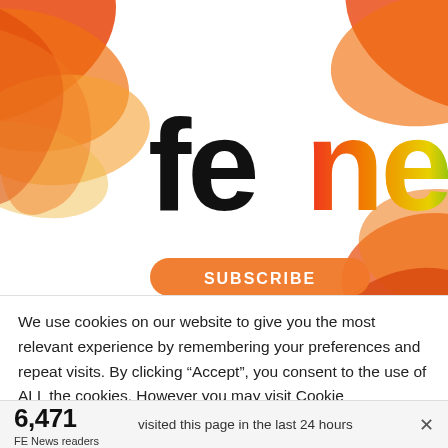[Figure (logo): FE News logo on white background with orange/red/yellow abstract paint brush strokes in corners. 'fe' in large black sans-serif text and 'news' in large rainbow-gradient text (red, orange, yellow, green, blue, purple). A partially visible orange 'SUBSCRIBE' button at bottom.]
We use cookies on our website to give you the most relevant experience by remembering your preferences and repeat visits. By clicking “Accept”, you consent to the use of ALL the cookies. However you may visit Cookie
6,471
FE News readers
visited this page in the last 24 hours